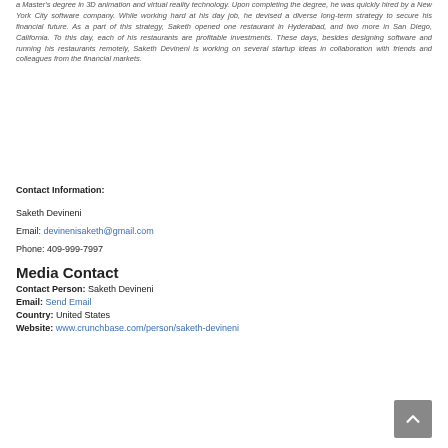a Master's degree in 3D animation and virtual reality technology. Upon completing the degree, he was quickly hired by a New York City software company. While working hard at his day job, he devised a diverse long-term strategy to secure his financial future. As a part of this strategy, Saketh opened one restaurant in Hyderabad, and two more in San Diego, California. To this day, each of his restaurants are profitable investments. These days, besides designing software and running his restaurants remotely, Saketh Devineni is working on several startup ideas in collaboration with friends and colleagues from the financial markets.
Contact Information:
Saketh Devineni
Email: devinenisaketh@gmail.com
Phone: 409-999-7997
Media Contact
Contact Person: Saketh Devineni
Email: Send Email
Country: United States
Website: www.crunchbase.com/person/saketh-devineni